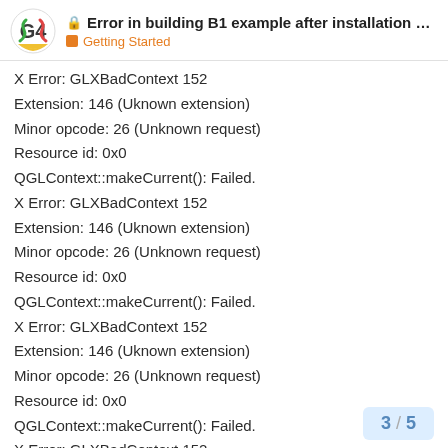Error in building B1 example after installation ... — Getting Started
X Error: GLXBadContext 152
Extension: 146 (Uknown extension)
Minor opcode: 26 (Unknown request)
Resource id: 0x0
QGLContext::makeCurrent(): Failed.
X Error: GLXBadContext 152
Extension: 146 (Uknown extension)
Minor opcode: 26 (Unknown request)
Resource id: 0x0
QGLContext::makeCurrent(): Failed.
X Error: GLXBadContext 152
Extension: 146 (Uknown extension)
Minor opcode: 26 (Unknown request)
Resource id: 0x0
QGLContext::makeCurrent(): Failed.
X Error: GLXBadContext 152
Extension: 146 (Uknown extension)
Minor opcode: 26 (Unknown request)
Resource id: 0x0
3 / 5